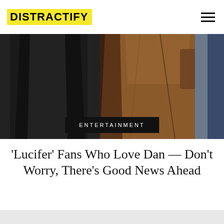DISTRACTIFY
[Figure (photo): Two men standing side by side, one in a dark suit jacket and one in a brown leather jacket, photographed from the torso down]
ENTERTAINMENT
'Lucifer' Fans Who Love Dan — Don't Worry, There's Good News Ahead